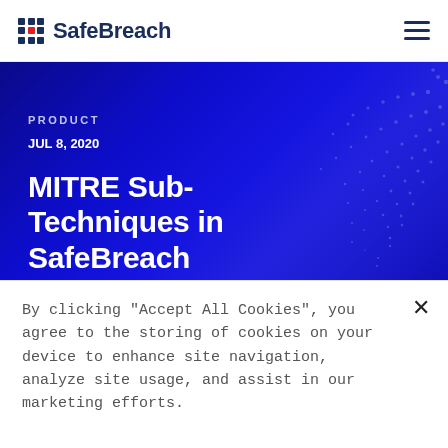SafeBreach
[Figure (screenshot): Hero banner with dark blue gradient background and decorative dot pattern on the right side]
PRODUCT
JUL 8, 2020
MITRE Sub-Techniques in SafeBreach
[Figure (infographic): Social share icons: share (red), email, LinkedIn, Twitter, Facebook]
By clicking "Accept All Cookies", you agree to the storing of cookies on your device to enhance site navigation, analyze site usage, and assist in our marketing efforts.